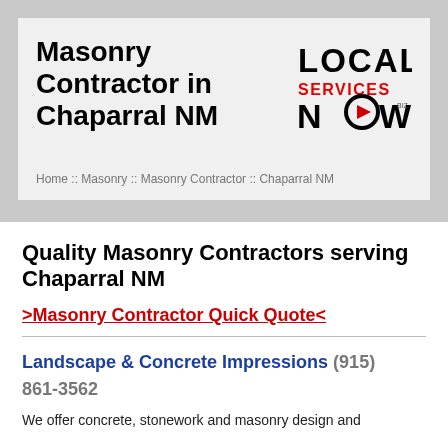Masonry Contractor in Chaparral NM
[Figure (logo): LOCAL SERVICES NOW logo with red play button icon]
Home :: Masonry :: Masonry Contractor :: Chaparral NM
Quality Masonry Contractors serving Chaparral NM
>Masonry Contractor Quick Quote<
Landscape & Concrete Impressions (915) 861-3562
We offer concrete, stonework and masonry design and